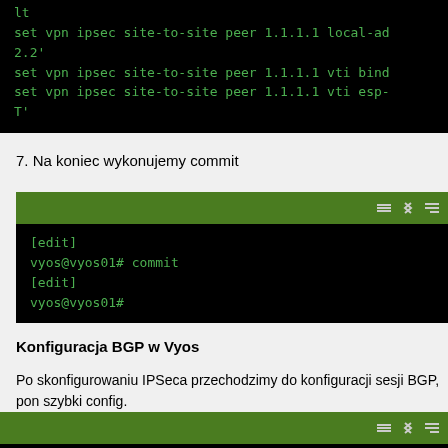[Figure (screenshot): Terminal window showing VyOS CLI commands: set vpn ipsec site-to-site peer 1.1.1.1 local-address 2.2.2.2', set vpn ipsec site-to-site peer 1.1.1.1 vti bind..., set vpn ipsec site-to-site peer 1.1.1.1 vti esp-...T']
7. Na koniec wykonujemy commit
[Figure (screenshot): Terminal window showing VyOS CLI commit: [edit], vyos@vyos01# commit, [edit], vyos@vyos01#]
Konfiguracja BGP w Vyos
Po skonfigurowaniu IPSeca przechodzimy do konfiguracji sesji BGP, pon szybki config.
[Figure (screenshot): Bottom partial terminal window with green header bar]